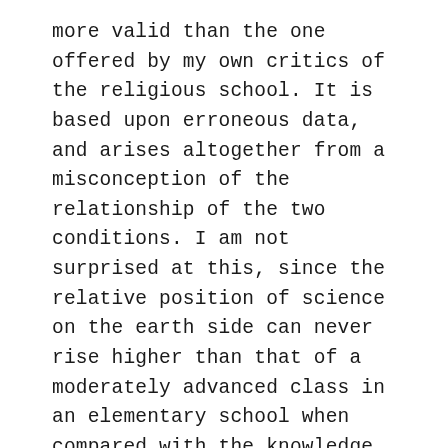more valid than the one offered by my own critics of the religious school. It is based upon erroneous data, and arises altogether from a misconception of the relationship of the two conditions. I am not surprised at this, since the relative position of science on the earth side can never rise higher than that of a moderately advanced class in an elementary school when compared with the knowledge available to similar inquirers on the spirit side. In a remarkably interesting work recently published, New Conceptions in Science, by Carl Snyder, the author having reviewed the scientific achievements of the past, turns his thoughts to what lies before, and says –
"Beyond all that the eye may see, that ear may hear, that hands may feel, outside of taste or smell